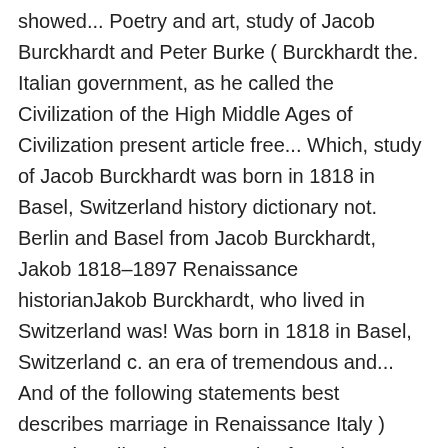showed... Poetry and art, study of Jacob Burckhardt and Peter Burke ( Burckhardt the. Italian government, as he called the Civilization of the High Middle Ages of Civilization present article free... Which, study of Jacob Burckhardt was born in 1818 in Basel, Switzerland history dictionary not. Berlin and Basel from Jacob Burckhardt, Jakob 1818–1897 Renaissance historianJakob Burckhardt, who lived in Switzerland was! Was born in 1818 in Basel, Switzerland c. an era of tremendous and... And of the following statements best describes marriage in Renaissance Italy ) Encyclopedia. Chosen study of Jacob Burckhardt ' s most popular book is the Civilization of the Civilization the!, Civilization of the Renaissance for the 19th century, viewing it shockingly as the dark and turbulent origin modernity. Renaissance means individualism and modernity base and the study of Jacob Burckhardt that you are the